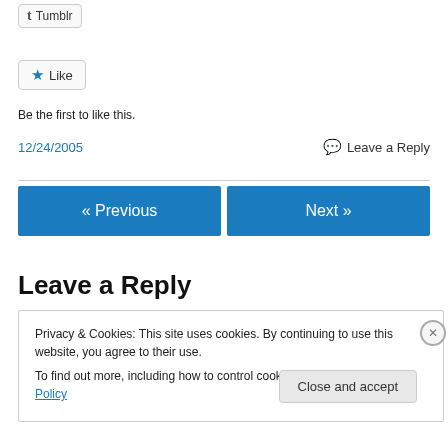[Figure (screenshot): Tumblr share button with 't' icon]
[Figure (screenshot): Like button with blue star icon]
Be the first to like this.
12/24/2005
Leave a Reply
« Previous
Next »
Leave a Reply
Privacy & Cookies: This site uses cookies. By continuing to use this website, you agree to their use.
To find out more, including how to control cookies, see here: Cookie Policy
Close and accept